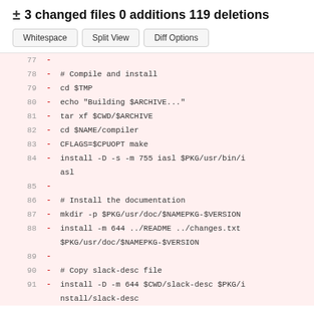± 3 changed files 0 additions 119 deletions
Whitespace | Split View | Diff Options
| line | op | code |
| --- | --- | --- |
| 77 | - |  |
| 78 | - | # Compile and install |
| 79 | - | cd $TMP |
| 80 | - | echo "Building $ARCHIVE..." |
| 81 | - | tar xf $CWD/$ARCHIVE |
| 82 | - | cd $NAME/compiler |
| 83 | - | CFLAGS=$CPUOPT make |
| 84 | - | install -D -s -m 755 iasl $PKG/usr/bin/iasl |
| 85 | - |  |
| 86 | - | # Install the documentation |
| 87 | - | mkdir -p $PKG/usr/doc/$NAMEPKG-$VERSION |
| 88 | - | install -m 644 ../README ../changes.txt $PKG/usr/doc/$NAMEPKG-$VERSION |
| 89 | - |  |
| 90 | - | # Copy slack-desc file |
| 91 | - | install -D -m 644 $CWD/slack-desc $PKG/install/slack-desc |